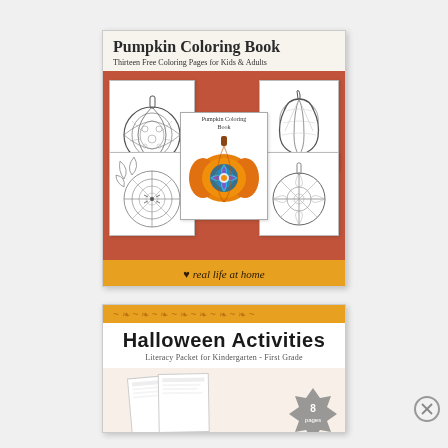[Figure (illustration): Pumpkin Coloring Book product card with orange/red header, title 'Pumpkin Coloring Book', subtitle 'Thirteen Free Coloring Pages for Kids & Adults', showing multiple coloring page thumbnails (mandala pumpkin, spider web pumpkin, geometric pumpkin, simple pumpkin outlines) arranged around a center colored pumpkin booklet. Footer reads '♥ real life at home' on orange background.]
[Figure (illustration): Halloween Activities product card with orange decorative banner, bold title 'Halloween Activities', subtitle 'Literacy Packet for Kindergarten - First Grade', partial preview of pages and an '8 pages' badge. Bottom partially cut off.]